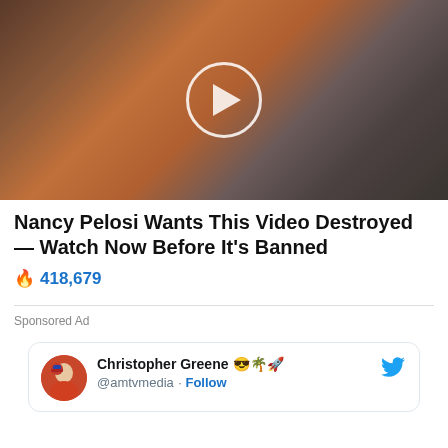[Figure (photo): Video thumbnail showing a woman in an orange blazer speaking at a podium with a play button overlay circle in the center. Background shows 'TRUMP' signage. A man in glasses is seated to the right.]
Nancy Pelosi Wants This Video Destroyed — Watch Now Before It's Banned
🔥 418,679
Sponsored Ad
Christopher Greene 😎🌴🚀 @amtvedia · Follow